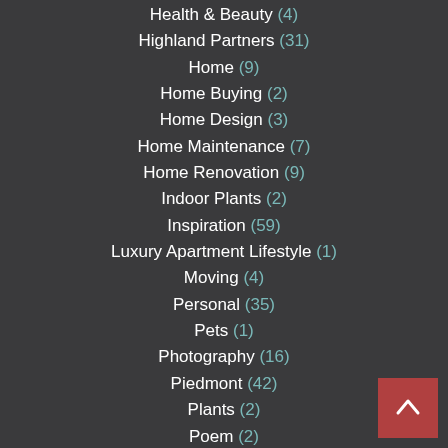Health & Beauty (4)
Highland Partners (31)
Home (9)
Home Buying (2)
Home Design (3)
Home Maintenance (7)
Home Renovation (9)
Indoor Plants (2)
Inspiration (59)
Luxury Apartment Lifestyle (1)
Moving (4)
Personal (35)
Pets (1)
Photography (16)
Piedmont (42)
Plants (2)
Poem (2)
Properties (47)
Real Estate (49)